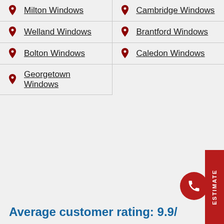Milton Windows
Cambridge Windows
Welland Windows
Brantford Windows
Bolton Windows
Caledon Windows
Georgetown Windows
Average customer rating: 9.9/